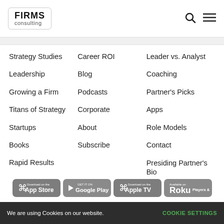FIRMS consulting
Strategy Studies
Leadership
Growing a Firm
Titans of Strategy
Startups
Books
Rapid Results
Career ROI
Blog
Podcasts
Corporate
About
Subscribe
Leader vs. Analyst
Coaching
Partner's Picks
Apps
Role Models
Contact
Presiding Partner's Bio
[Figure (other): App store badges: App Store, Google Play, Apple TV, Roku]
We are using Cookies on our website.   COOKIE SETTINGS